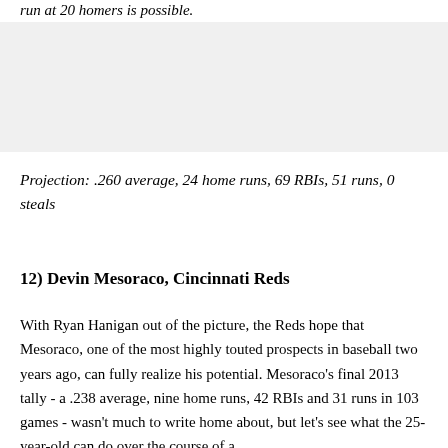run at 20 homers is possible.
[Figure (photo): Gray image placeholder box]
Projection: .260 average, 24 home runs, 69 RBIs, 51 runs, 0 steals
12) Devin Mesoraco, Cincinnati Reds
With Ryan Hanigan out of the picture, the Reds hope that Mesoraco, one of the most highly touted prospects in baseball two years ago, can fully realize his potential. Mesoraco's final 2013 tally - a .238 average, nine home runs, 42 RBIs and 31 runs in 103 games - wasn't much to write home about, but let's see what the 25-year-old can do over the course of a